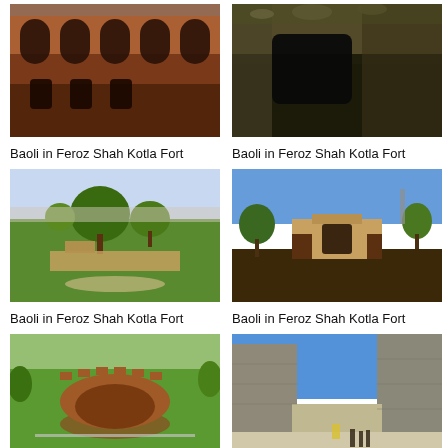[Figure (photo): Baoli in Feroz Shah Kotla Fort - interior view showing arched niches in brick walls]
Baoli in Feroz Shah Kotla Fort
[Figure (photo): Baoli in Feroz Shah Kotla Fort - close-up of stone rubble masonry wall with opening]
Baoli in Feroz Shah Kotla Fort
[Figure (photo): Baoli in Feroz Shah Kotla Fort - wide view of green lawn with ruins and curved structure]
Baoli in Feroz Shah Kotla Fort
[Figure (photo): Baoli in Feroz Shah Kotla Fort - exterior view of fort structures with blue sky]
Baoli in Feroz Shah Kotla Fort
[Figure (photo): Baoli in Feroz Shah Kotla Fort - circular tower ruin surrounded by green lawn]
[Figure (photo): Baoli in Feroz Shah Kotla Fort - massive stone walls with visitors at base]